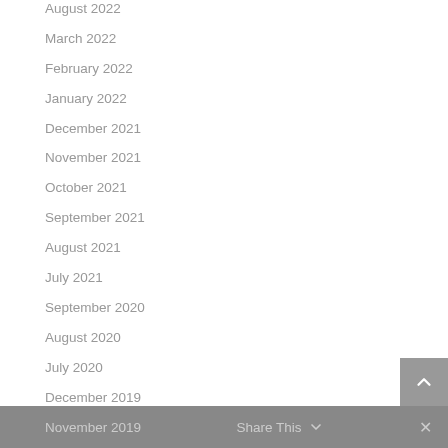August 2022
March 2022
February 2022
January 2022
December 2021
November 2021
October 2021
September 2021
August 2021
July 2021
September 2020
August 2020
July 2020
December 2019
November 2019   Share This   ✕